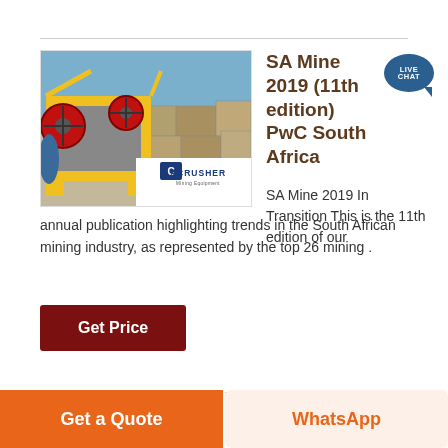[Figure (photo): Photo of yellow mining jaw crusher machinery with red flywheel, against stone blocks background. ACRUSHER Mining Equipment logo overlay in bottom right corner.]
SA Mine 2019 (11th edition) PwC South Africa
SA Mine 2019 In Transition This is the 11th edition of our annual publication highlighting trends in the South African mining industry, as represented by the top 26 mining .
Get Price
Get a Quote
WhatsApp